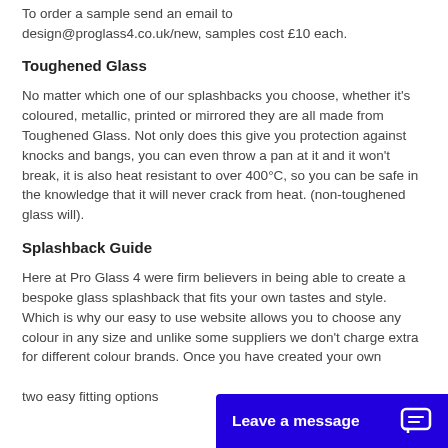To order a sample send an email to design@proglass4.co.uk/new, samples cost £10 each.
Toughened Glass
No matter which one of our splashbacks you choose, whether it's coloured, metallic, printed or mirrored they are all made from Toughened Glass. Not only does this give you protection against knocks and bangs, you can even throw a pan at it and it won't break, it is also heat resistant to over 400°C, so you can be safe in the knowledge that it will never crack from heat. (non-toughened glass will).
Splashback Guide
Here at Pro Glass 4 were firm believers in being able to create a bespoke glass splashback that fits your own tastes and style. Which is why our easy to use website allows you to choose any colour in any size and unlike some suppliers we don't charge extra for different colour brands. Once you have created your own … two easy fitting options … …